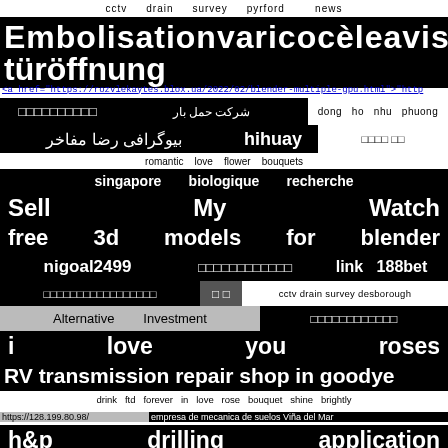cctv   drain   survey   pyrford   news
Embolisation   varicocèle   avis türöffnung
<a href="https://rozvlekaytes.blox.ua/2022/02/blender-multiple-gpu.html">"http
□□□□□□□□□□   شرکت حمل بار   dong ho nhu phuong
بیوگرافی رضا مفاخر   hihuay   □□□□ □□
romantic   love   flower   bouquets
singapore   biologique   recherche
Sell   My   Watch
free   3d   models   for   blender
nigoal2499   □□□□□□□□□□□□   link 188bet
□□□□□□□□□□□□□□□□□   □ □   cctv drain survey desborough
Alternative   Investment   □□□□□□□□□□□□
i   love   you   roses
RV transmission repair shop in goodye
drink ftd forever in love rose bouquet shine brightly
https://128.199.80.98/   empresa de mecanica de suelos Viña del Mar
h&p   drilling   application
cheap 50th birthday gift ideas   teeth whitening treatment